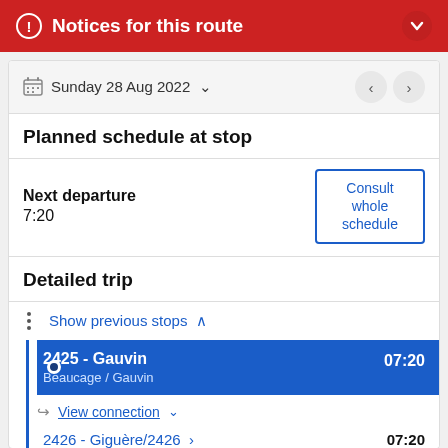Notices for this route
Sunday 28 Aug 2022
Planned schedule at stop
Next departure
7:20
Consult whole schedule
Detailed trip
Show previous stops
2425 - Gauvin
Beaucage / Gauvin
07:20
View connection
2426 - Giguère/2426
07:20